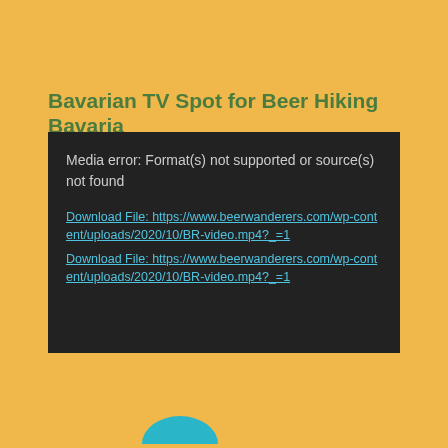Bavarian TV Spot for Beer Hiking Bavaria
[Figure (screenshot): Dark media player error box showing: 'Media error: Format(s) not supported or source(s) not found' with two download links to https://www.beerwanderers.com/wp-content/uploads/2020/10/BR-video.mp4?_=1]